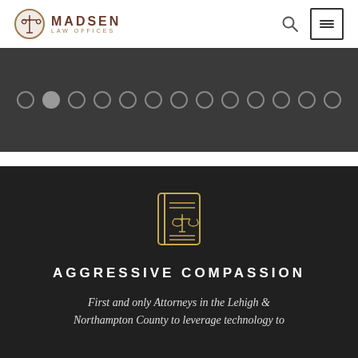[Figure (logo): Madsen Law Offices logo with scales of justice icon and text MADSEN LAW OFFICES]
[Figure (screenshot): Dark gray slider section with 13 navigation dots, second dot filled/active]
[Figure (illustration): Dark background section with gold law book/scales icon, heading AGGRESSIVE COMPASSION, and tagline text]
AGGRESSIVE COMPASSION
First and only Attorneys in the Lehigh & Northampton County to leverage technology to